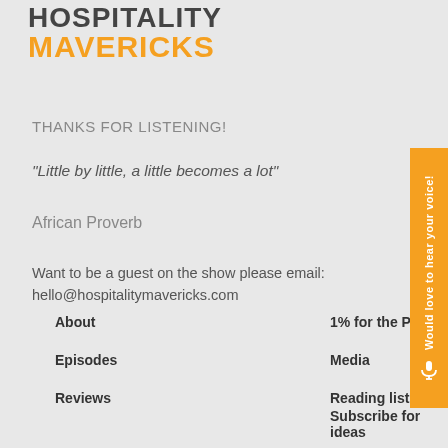HOSPITALITY MAVERICKS
THANKS FOR LISTENING!
"Little by little, a little becomes a lot"
African Proverb
Want to be a guest on the show please email:
hello@hospitalitymavericks.com
About
1% for the Planet
Episodes
Media
Reviews
Reading list
Subscribe for ideas
[Figure (infographic): Orange vertical side tab with text 'Would love to hear your voice!' and microphone icon]